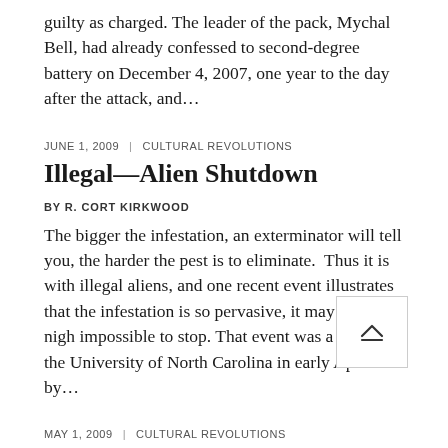guilty as charged. The leader of the pack, Mychal Bell, had already confessed to second-degree battery on December 4, 2007, one year to the day after the attack, and…
JUNE 1, 2009 | CULTURAL REVOLUTIONS
Illegal—Alien Shutdown
BY R. CORT KIRKWOOD
The bigger the infestation, an exterminator will tell you, the harder the pest is to eliminate. Thus it is with illegal aliens, and one recent event illustrates that the infestation is so pervasive, it may be well-nigh impossible to stop. That event was a speech at the University of North Carolina in early April by…
MAY 1, 2009 | CULTURAL REVOLUTIONS
A Time to Sue